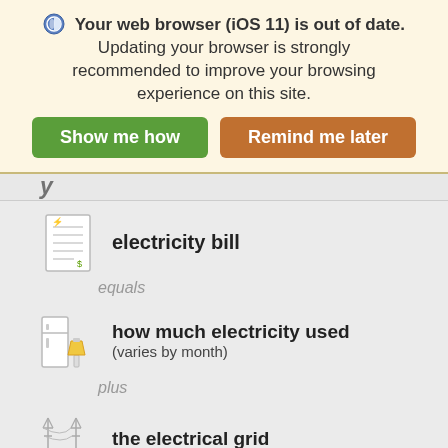Your web browser (iOS 11) is out of date. Updating your browser is strongly recommended to improve your browsing experience on this site.
Show me how | Remind me later
electricity bill
equals
how much electricity used (varies by month)
plus
the electrical grid
plus
energy efficiency incentives